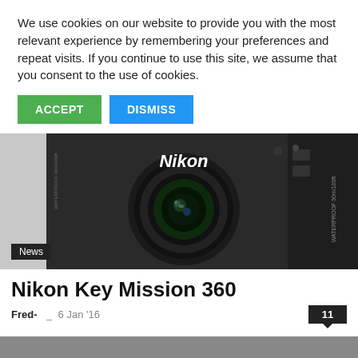We use cookies on our website to provide you with the most relevant experience by remembering your preferences and repeat visits. If you continue to use this site, we assume that you consent to the use of cookies.
ACCEPT
DISMISS
[Figure (photo): Close-up photo of a Nikon Key Mission 360 action camera, black, showing the lens and Nikon branding. Text on side reads WATERPROOF 30m/100ft.]
News
Nikon Key Mission 360
Fred-  6 Jan '16  11
[Figure (photo): Partial photo of another camera or device, mostly grey/silver, cut off at bottom of page.]